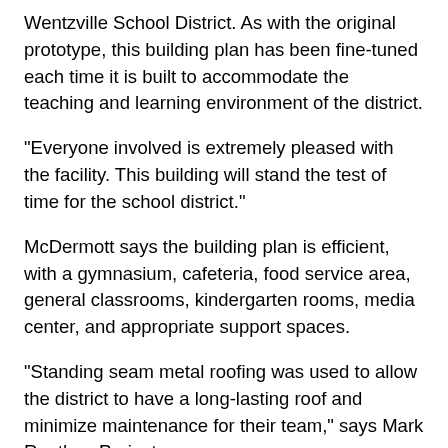Wentzville School District. As with the original prototype, this building plan has been fine-tuned each time it is built to accommodate the teaching and learning environment of the district.
"Everyone involved is extremely pleased with the facility. This building will stand the test of time for the school district."
McDermott says the building plan is efficient, with a gymnasium, cafeteria, food service area, general classrooms, kindergarten rooms, media center, and appropriate support spaces.
"Standing seam metal roofing was used to allow the district to have a long-lasting roof and minimize maintenance for their team," says Mark Routher, Project